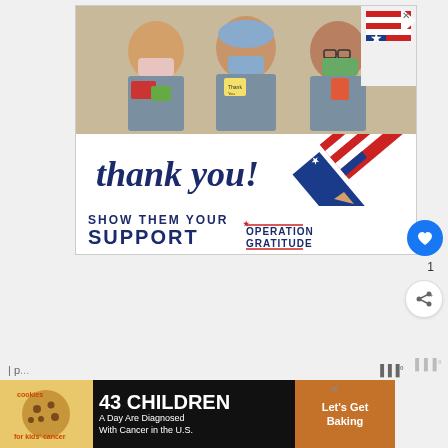[Figure (photo): Advertisement banner: Three healthcare workers in scrubs and masks holding thank-you cards. Text reads 'thank you! SHOW THEM YOUR SUPPORT OPERATION GRATITUDE' with a pencil graphic and American flag design.]
[Figure (infographic): Bottom advertisement: '43 CHILDREN A Day Are Diagnosed With Cancer in the U.S.' with cookies for kids' cancer logo and 'Let's Get Baking' on brown background.]